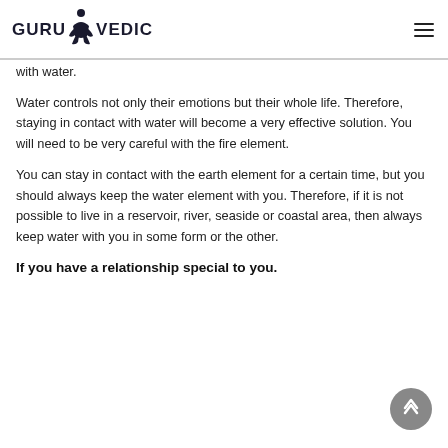GURU VEDIC
with water.
Water controls not only their emotions but their whole life. Therefore, staying in contact with water will become a very effective solution. You will need to be very careful with the fire element.
You can stay in contact with the earth element for a certain time, but you should always keep the water element with you. Therefore, if it is not possible to live in a reservoir, river, seaside or coastal area, then always keep water with you in some form or the other.
If you have a relationship special to you.
When...